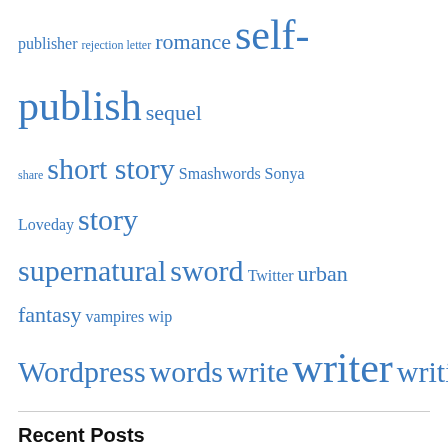[Figure (other): Tag cloud with blue hyperlinks of various font sizes including: publisher, rejection letter, romance, self-publish, sequel, share, short story, Smashwords, Sonya Loveday, story, supernatural, sword, Twitter, urban fantasy, vampires, wip, Wordpress, words, write, writer, writing, york]
Recent Posts
Space Time Magazine May 9, 2019
The Autumnal Equinox approacheth…s? September 1, 2018
New Release! (Warning, contains adult content!) April 2, 2018
Privacy & Cookies: This site uses cookies. By continuing to use this website, you agree to their use.
To find out more, including how to control cookies, see here: Cookie Policy
Close and accept
Half a million words – the sequel? April 8, 2016